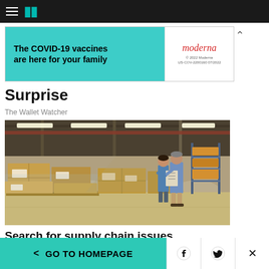HuffPost navigation bar with hamburger menu and logo
[Figure (other): Moderna COVID-19 vaccine advertisement banner with teal background. Text: 'The COVID-19 vaccines are here for your family'. Moderna logo on white right panel with fine print '© 2022 Moderna US-COV-2200160 07/2022']
Surprise
The Wallet Watcher
[Figure (photo): Two people standing in a large warehouse surrounded by stacked cardboard boxes on pallets, looking at a clipboard or tablet. The warehouse has high ceilings with fluorescent lighting and shelving racks in the background.]
Search for supply chain issues
Yahoo Search
< GO TO HOMEPAGE  [Facebook] [Twitter] [X]